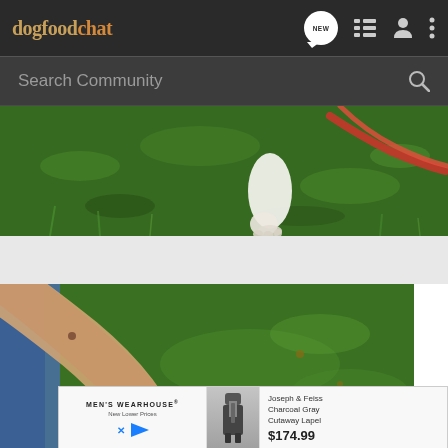dogfoodchat — navigation bar with logo and icons: NEW message bubble, list, user, more
Search Community
[Figure (photo): Close-up of a dog's white paw and leg on green grass with a red leash visible]
[Figure (photo): Person's arm and leg on green grass with a sports watch/fitness tracker visible]
[Figure (advertisement): Men's Wearhouse ad showing Joseph & Feiss Charcoal Gray Cutaway Lapel suit for $174.99]